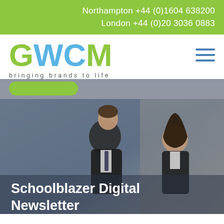Northampton +44 (0)1604 638200
London +44 (0)20 3036 0883
[Figure (logo): GWCM logo with tagline 'bringing brands to life']
[Figure (photo): Two school students in uniform (blazers), a boy on the left and a girl on the right, with text overlay 'Schoolblazer Digital Newsletter']
Schoolblazer Digital Newsletter